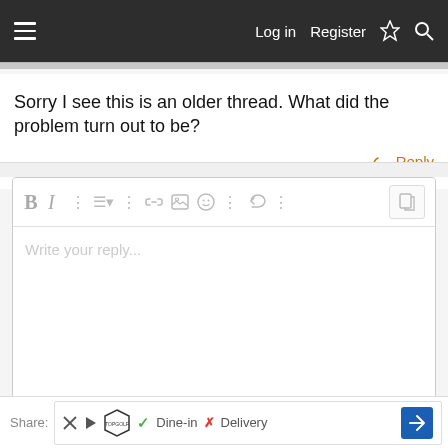Log in   Register
Sorry I see this is an older thread. What did the problem turn out to be?
↩ Reply
[Figure (screenshot): Forum reply text editor with toolbar (Bold, Italic, list, link, image, emoji, undo icons) and placeholder text 'Write your reply...']
↩ Post reply
Share:   [Topgolf ad] ✓ Dine-in  ✗ Delivery